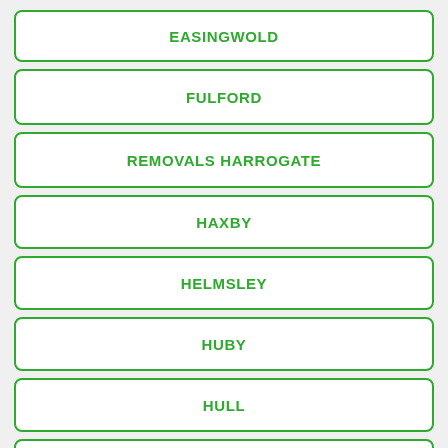EASINGWOLD
FULFORD
REMOVALS HARROGATE
HAXBY
HELMSLEY
HUBY
HULL
KIRK HAMMERTON